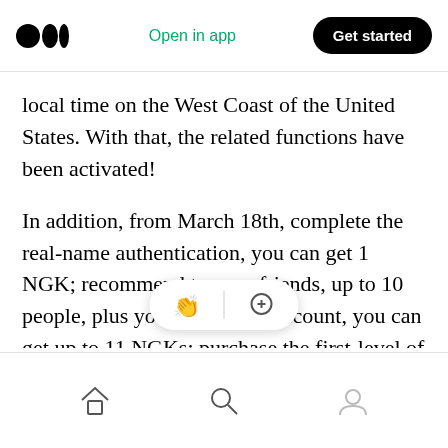Open in app | Get started
local time on the West Coast of the United States. With that, the related functions have been activated!
In addition, from March 18th, complete the real-name authentication, you can get 1 NGK; recommend to your friends, up to 10 people, plus your real-name account, you can get up to 11 NGKs; purchase the first-level of computing power, activate your account and authenticate with your real name, you can participate in this activity unlimitedly, unlimited NGK
[home] [search] [profile]